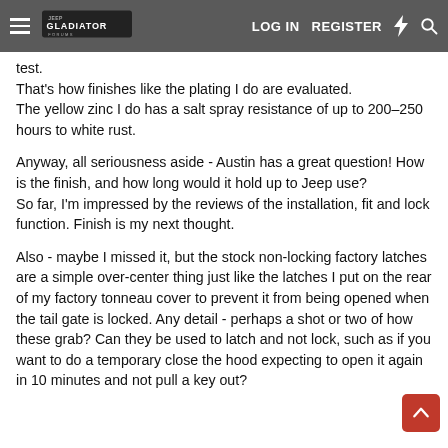Gladiator Forums — LOG IN  REGISTER
test.
That's how finishes like the plating I do are evaluated.
The yellow zinc I do has a salt spray resistance of up to 200–250 hours to white rust.
Anyway, all seriousness aside - Austin has a great question! How is the finish, and how long would it hold up to Jeep use?
So far, I'm impressed by the reviews of the installation, fit and lock function. Finish is my next thought.
Also - maybe I missed it, but the stock non-locking factory latches are a simple over-center thing just like the latches I put on the rear of my factory tonneau cover to prevent it from being opened when the tail gate is locked. Any detail - perhaps a shot or two of how these grab? Can they be used to latch and not lock, such as if you want to do a temporary close the hood expecting to open it again in 10 minutes and not pull a key out?